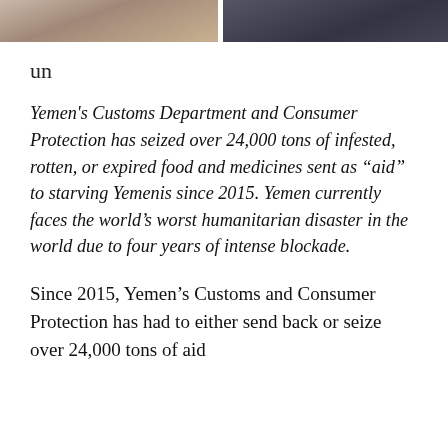[Figure (photo): Partial photo strip at top of page showing cropped image of people, split into two sections]
un
Yemen's Customs Department and Consumer Protection has seized over 24,000 tons of infested, rotten, or expired food and medicines sent as “aid” to starving Yemenis since 2015. Yemen currently faces the world’s worst humanitarian disaster in the world due to four years of intense blockade.
Since 2015, Yemen’s Customs and Consumer Protection has had to either send back or seize over 24,000 tons of aid